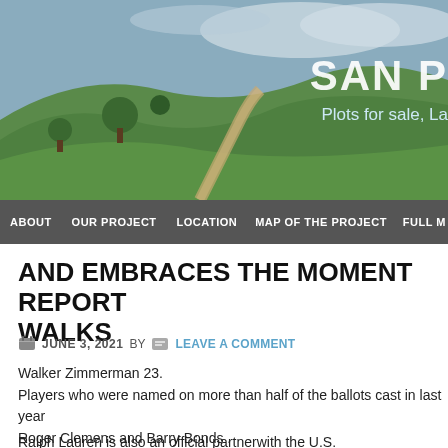[Figure (photo): Header photo of a green hilly landscape with a dirt road and trees under a cloudy sky, with site title 'SAN P' and tagline 'Plots for sale, La' overlaid on the right side]
ABOUT | OUR PROJECT | LOCATION | MAP OF THE PROJECT | FULL M
AND EMBRACES THE MOMENT REPORT WALKS
JUNE 3, 2021 BY  LEAVE A COMMENT
Walker Zimmerman 23.
Players who were named on more than half of the ballots cast in last year
Roger Clemens and Barry Bonds .
A 2020 World Series 23-hour collector's edition will be available Feb.
Ralph Lauren is also an official partnerwith the U.S.
This post-season schedule has met with favor of the players as it will give